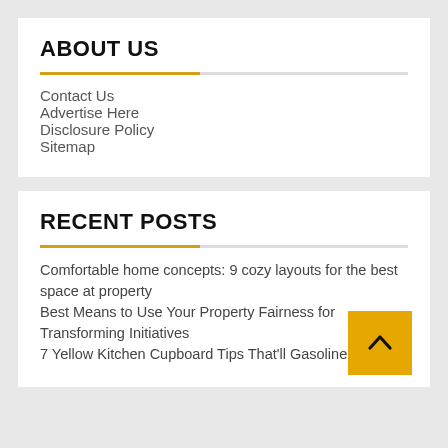ABOUT US
Contact Us
Advertise Here
Disclosure Policy
Sitemap
RECENT POSTS
Comfortable home concepts: 9 cozy layouts for the best space at property
Best Means to Use Your Property Fairness for Transforming Initiatives
7 Yellow Kitchen Cupboard Tips That'll Gasoline Your